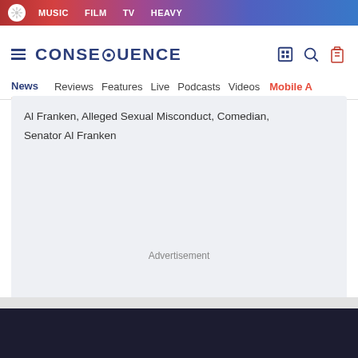MUSIC   FILM   TV   HEAVY
[Figure (logo): Consequence of Sound logo with CONSEQ-UENCE text and navigation icons]
News   Reviews   Features   Live   Podcasts   Videos   Mobile A
Al Franken, Alleged Sexual Misconduct, Comedian, Senator Al Franken
Advertisement